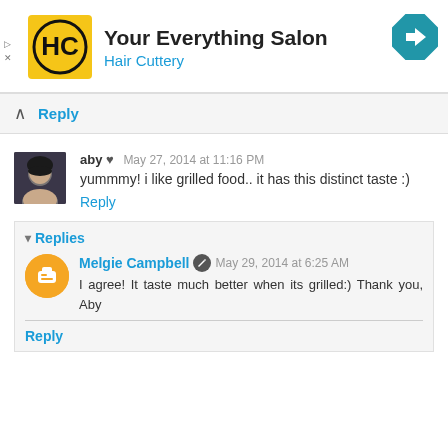[Figure (logo): Hair Cuttery logo - yellow square with HC letters and 'Your Everything Salon / Hair Cuttery' text]
Reply
aby ♥  May 27, 2014 at 11:16 PM
yummmy! i like grilled food.. it has this distinct taste :)
Reply
▾ Replies
Melgie Campbell  May 29, 2014 at 6:25 AM
I agree! It taste much better when its grilled:) Thank you, Aby
Reply